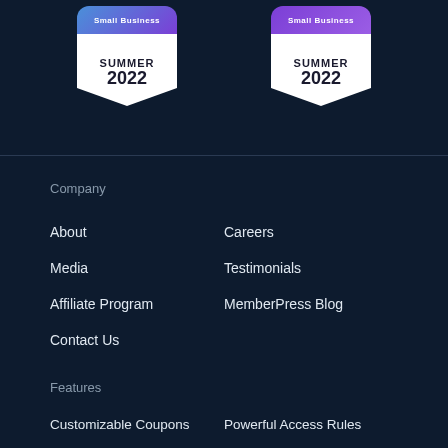[Figure (illustration): Two G2 Small Business Summer 2022 award badges side by side on dark navy background]
Company
About
Careers
Media
Testimonials
Affiliate Program
MemberPress Blog
Contact Us
Features
Customizable Coupons
Powerful Access Rules
Premium Community Forums
Pretty Pricing Pages
Ridiculously Easy Setup
View All Features ->